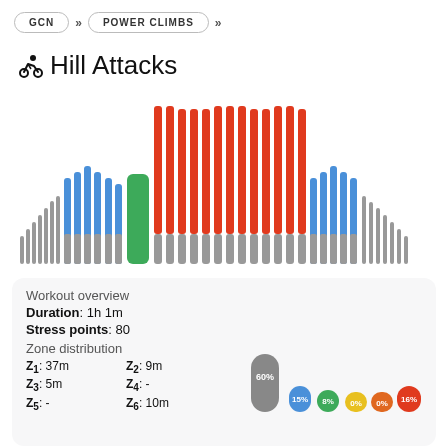GCN >> POWER CLIMBS >>
🚴 Hill Attacks
[Figure (bar-chart): Workout interval chart showing gray bars (warm-up/cool-down), blue bars (moderate effort), green bar (one interval), and tall red bars (high intensity intervals) arranged in a mountain/hill profile shape]
Workout overview
Duration: 1h 1m
Stress points: 80
Zone distribution
Z1: 37m   Z2: 9m
Z3: 5m    Z4: -
Z5: -     Z6: 10m
[Figure (bar-chart): Zone distribution mini bar chart with colored circle labels: Z1 60% (gray), Z2 15% (blue), Z3 8% (green), Z4 0% (yellow), Z5 0% (orange-red), Z6 16% (red)]